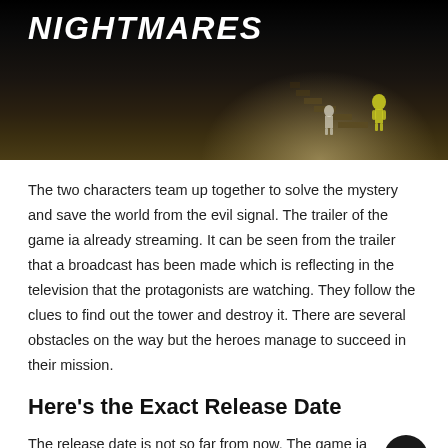[Figure (screenshot): Dark atmospheric game screenshot showing 'Nightmares' title text in white italic bold letters on black background, with a dimly lit scene showing stairs and a small character figure in yellow/green against a dark backdrop]
The two characters team up together to solve the mystery and save the world from the evil signal. The trailer of the game ia already streaming. It can be seen from the trailer that a broadcast has been made which is reflecting in the television that the protagonists are watching. They follow the clues to find out the tower and destroy it. There are several obstacles on the way but the heroes manage to succeed in their mission.
Here's the Exact Release Date
The release date is not so far from now. The game ia